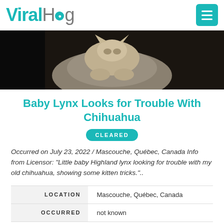ViralHog
[Figure (photo): Video thumbnail showing a baby lynx and chihuahua on bedding/pillows, dark background]
Baby Lynx Looks for Trouble With Chihuahua
CLEARED
Occurred on July 23, 2022 / Mascouche, Québec, Canada Info from Licensor: "Little baby Highland lynx looking for trouble with my old chihuahua, showing some kitten tricks."..
|  |  |
| --- | --- |
| LOCATION | Mascouche, Québec, Canada |
| OCCURRED | not known |